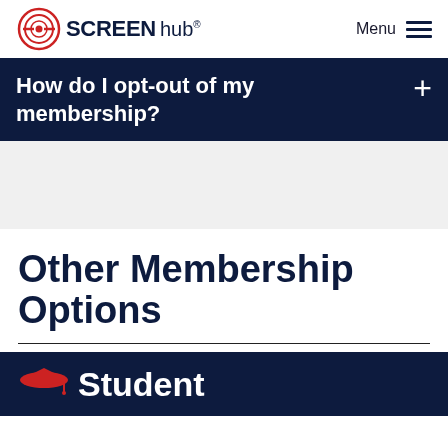SCREEN hub  Menu
How do I opt-out of my membership?
Other Membership Options
Student